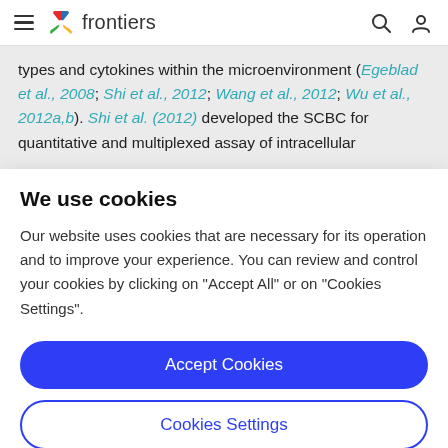frontiers
types and cytokines within the microenvironment (Egeblad et al., 2008; Shi et al., 2012; Wang et al., 2012; Wu et al., 2012a,b). Shi et al. (2012) developed the SCBC for quantitative and multiplexed assay of intracellular
We use cookies
Our website uses cookies that are necessary for its operation and to improve your experience. You can review and control your cookies by clicking on "Accept All" or on "Cookies Settings".
Accept Cookies
Cookies Settings